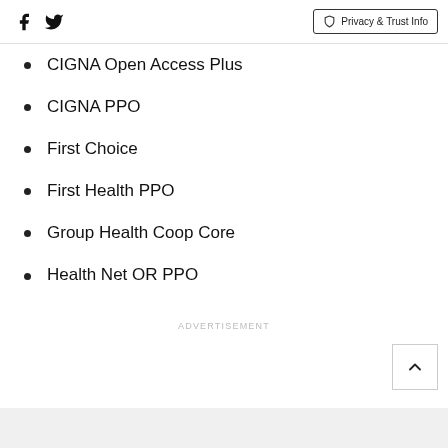Social icons (Facebook, Twitter) | Privacy & Trust Info
CIGNA Open Access Plus
CIGNA PPO
First Choice
First Health PPO
Group Health Coop Core
Health Net OR PPO
ADVERTISEMENT
ADVERTISEMENT